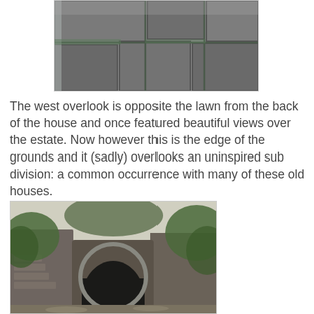[Figure (photo): Top-cropped photograph of a stone patio or walkway with large flat stone pavers and greenery/moss between joints, viewed from above at an angle.]
The west overlook is opposite the lawn from the back of the house and once featured beautiful views over the estate. Now however this is the edge of the grounds and it (sadly) overlooks an uninspired sub division: a common occurrence with many of these old houses.
[Figure (photo): Photograph of a stone arched tunnel entrance with steps on the left side, surrounded by lush green vegetation and trees.]